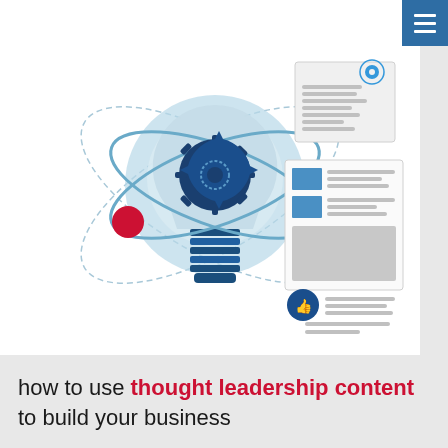[Figure (illustration): Infographic illustration showing a light bulb with a gear/cog inside it, surrounded by orbital rings and dashed circles, with two red dots acting as electrons. To the right are three UI/content mockups: a settings card with a gear icon, a content card with blue image placeholders and text lines, and a social engagement card with a thumbs-up icon and text lines. Top-right corner has a dark blue hamburger menu button.]
how to use thought leadership content to build your business